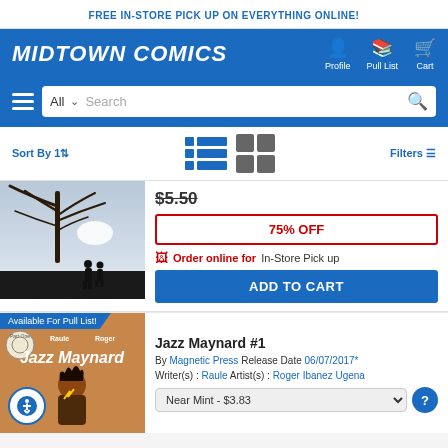FREE IN-STORE PICK UP ON EVERYTHING ONLINE!
[Figure (logo): Midtown Comics logo with Profile, Pull List, and Cart navigation icons]
[Figure (screenshot): Search bar with All category dropdown and search field]
Sort By  Filters
[Figure (photo): Comic book cover showing two silhouetted figures under a bare tree]
$5.50
75% OFF
Order online for In-Store Pick up
ADD TO CART
Available For Pull List!
[Figure (photo): Jazz Maynard #1 comic book cover with orange background showing character]
Jazz Maynard #1
By Magnetic Press Release Date 06/07/2017*
Writer(s) : Raule  Artist(s) : Roger Ibanez Ugena
Near Mint - $3.83